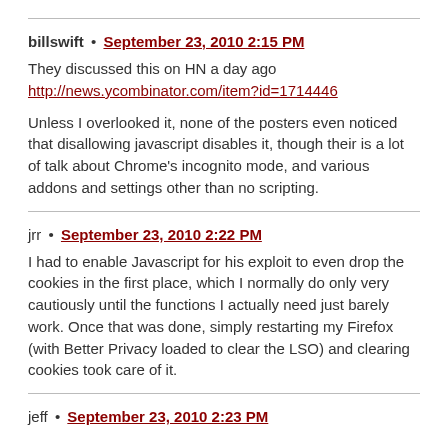billswift • September 23, 2010 2:15 PM
They discussed this on HN a day ago http://news.ycombinator.com/item?id=1714446

Unless I overlooked it, none of the posters even noticed that disallowing javascript disables it, though their is a lot of talk about Chrome's incognito mode, and various addons and settings other than no scripting.
jrr • September 23, 2010 2:22 PM
I had to enable Javascript for his exploit to even drop the cookies in the first place, which I normally do only very cautiously until the functions I actually need just barely work. Once that was done, simply restarting my Firefox (with Better Privacy loaded to clear the LSO) and clearing cookies took care of it.
jeff • September 23, 2010 2:23 PM